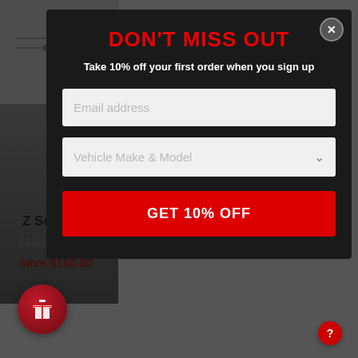[Figure (screenshot): E-commerce product page with a modal popup overlay. The modal has a dark background with the title DON'T MISS OUT in red, subtitle text about 10% off, an email address input field, a Vehicle Make & Model dropdown, and a GET 10% OFF red button. Behind the modal, a product listing is partially visible showing 'Z Ser...' title, crossed-out price $359.00, sale price $199.00, and Save $160.00 in red. A red gift icon button is in the lower-left, and a red help button is in the lower-right.]
DON'T MISS OUT
Take 10% off your first order when you sign up
Email address
Vehicle Make & Model
GET 10% OFF
Z Ser
$359.00  $199.00
Save $160.00